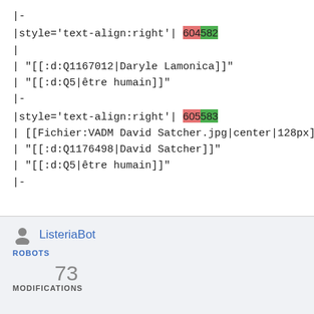|-
|style='text-align:right'| 604582
|
| "[[:d:Q1167012|Daryle Lamonica]]"
| "[[:d:Q5|être humain]]"
|-
|style='text-align:right'| 605583
| [[Fichier:VADM David Satcher.jpg|center|128px]]
| "[[:d:Q1176498|David Satcher]]"
| "[[:d:Q5|être humain]]"
|-
ListeriaBot
ROBOTS
73
MODIFICATIONS